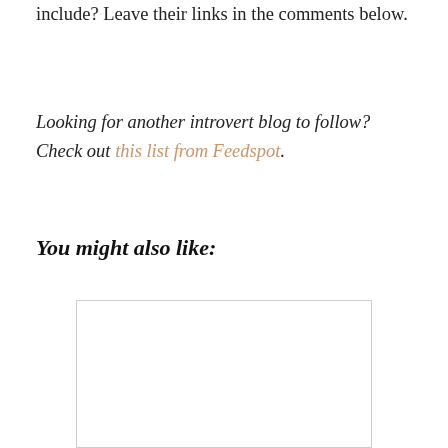include? Leave their links in the comments below.
Looking for another introvert blog to follow? Check out this list from Feedspot.
You might also like:
[Figure (photo): A white/blank image placeholder area with a light border, partially visible at the bottom of the page.]